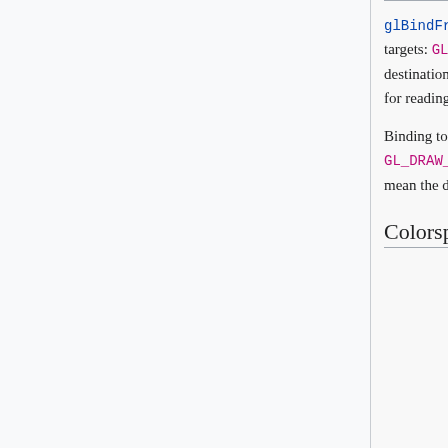glBindFramebuffer is used to bind framebuffers to the context. They can be bound to one of two targets: GL_DRAW_FRAMEBUFFER and GL_READ_FRAMEBUFFER. The draw framebuffer is used as the destination for rendering, clearing, and other writing operations. The read framebuffer is used as the source for reading operations.
Binding to the GL_FRAMEBUFFER target is equivalent to binding that framebuffer to both GL_DRAW_FRAMEBUFFER and GL_READ_FRAMEBUFFER. Note that most other uses of GL_FRAMEBUFFER mean the draw framebuffer; this is the case when it means both.
Colorspace